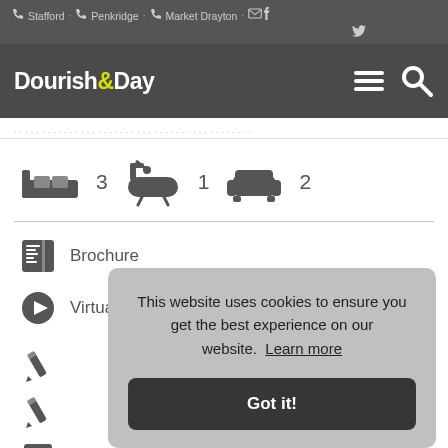Stafford · Penkridge · Market Drayton
Dourish&Day
[Figure (infographic): Property feature icons: bed (3), bath (1), sofa (2)]
Brochure
Virtual Tour
This website uses cookies to ensure you get the best experience on our website. Learn more
Got it!